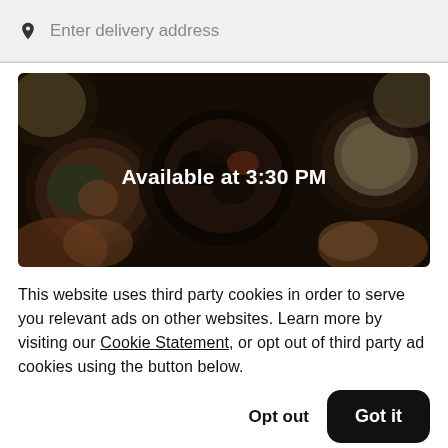Enter delivery address
[Figure (photo): Overhead view of multiple bowls of food with a dark overlay, showing the text 'Available at 3:30 PM' centered on the image.]
This website uses third party cookies in order to serve you relevant ads on other websites. Learn more by visiting our Cookie Statement, or opt out of third party ad cookies using the button below.
Opt out
Got it